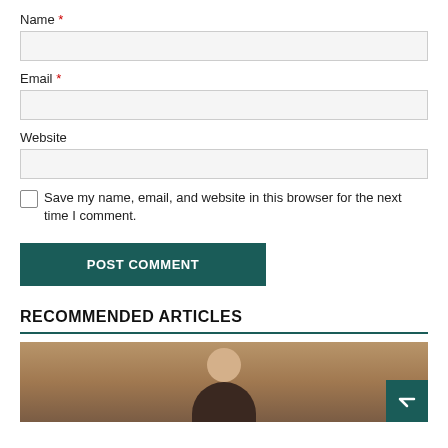Name *
Email *
Website
Save my name, email, and website in this browser for the next time I comment.
POST COMMENT
RECOMMENDED ARTICLES
[Figure (photo): Photo of a person, partial view showing head and shoulders]